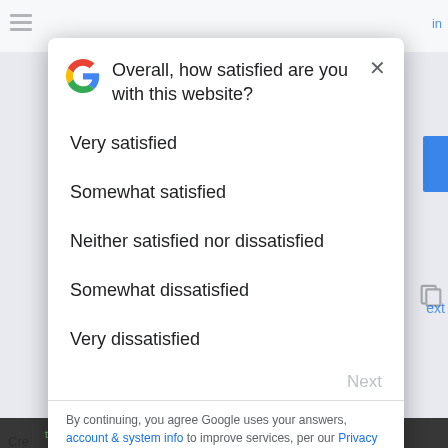[Figure (screenshot): Google satisfaction survey modal dialog overlaid on a blurred webpage background. The modal asks 'Overall, how satisfied are you with this website?' with five response options: Very satisfied, Somewhat satisfied, Neither satisfied nor dissatisfied, Somewhat dissatisfied, Very dissatisfied. A dimmed 'Next' button appears at the bottom right of the modal, followed by a divider and legal text referencing Google's account & system info, Privacy, and Terms links.]